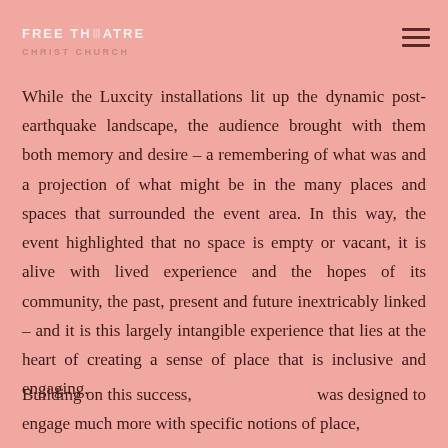FREE THEATRE
CHRIST CHURCH
While the Luxcity installations lit up the dynamic post-earthquake landscape, the audience brought with them both memory and desire – a remembering of what was and a projection of what might be in the many places and spaces that surrounded the event area. In this way, the event highlighted that no space is empty or vacant, it is alive with lived experience and the hopes of its community, the past, present and future inextricably linked – and it is this largely intangible experience that lies at the heart of creating a sense of place that is inclusive and engaging.
Building on this success,                    was designed to engage much more with specific notions of place,